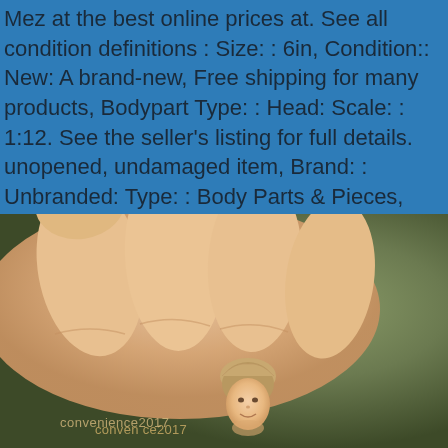Mez at the best online prices at. See all condition definitions : Size: : 6in, Condition:: New: A brand-new, Free shipping for many products, Bodypart Type: : Head: Scale: : 1:12. See the seller's listing for full details. unopened, undamaged item, Brand: : Unbranded: Type: : Body Parts & Pieces, Year: : 2019: Country/Region of Manufacture: : China.
[Figure (photo): A hand holding a small 1:12 scale miniature human head figurine against a dark olive/green background. The fingers are visible gripping the tiny sculpted head from above. A watermark reading 'convenience2017' appears at the bottom of the image.]